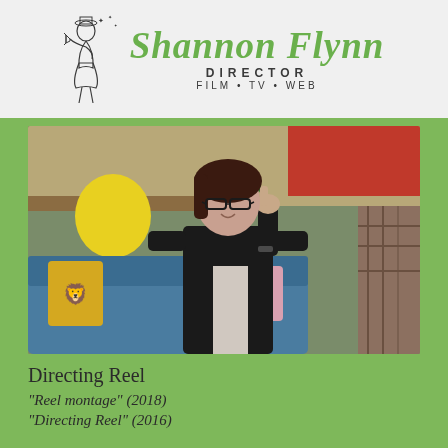[Figure (logo): Shannon Flynn Director logo with retro illustrated woman holding a megaphone, green script name text, DIRECTOR subtitle, FILM TV WEB tagline]
[Figure (photo): Woman with dark hair and glasses wearing black cardigan, pointing at camera, on colorful TV set with blue sofa and cushions in background]
Directing Reel
“Reel montage” (2018)
“Directing Reel” (2016)